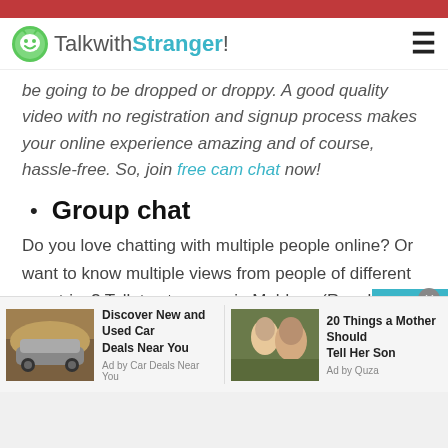[Figure (screenshot): TalkwithStranger website header/navbar with logo and hamburger menu]
be going to be dropped or droppy. A good quality video with no registration and signup process makes your online experience amazing and of course, hassle-free. So, join free cam chat now!
Group chat
Do you love chatting with multiple people online? Or want to know multiple views from people of different countries? Talk to strangers in Moldova (Republic of) via the TWS group is definitely fun and full of excitement. At TWS you have a medium
[Figure (infographic): Advertisement bar with two ads: 'Discover New and Used Car Deals Near You' (Ad by Car Deals Near You) and '20 Things a Mother Should Tell Her Son' (Ad by Quza)]